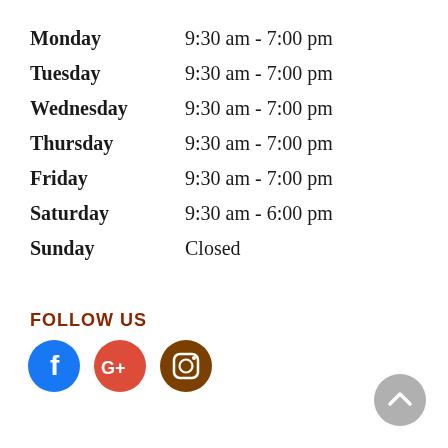| Day | Hours |
| --- | --- |
| Monday | 9:30 am - 7:00 pm |
| Tuesday | 9:30 am - 7:00 pm |
| Wednesday | 9:30 am - 7:00 pm |
| Thursday | 9:30 am - 7:00 pm |
| Friday | 9:30 am - 7:00 pm |
| Saturday | 9:30 am - 6:00 pm |
| Sunday | Closed |
FOLLOW US
[Figure (infographic): Three social media icons: Facebook (blue circle with 'f'), Google+ (red/orange circle with 'G+'), Instagram (brown circle with camera icon)]